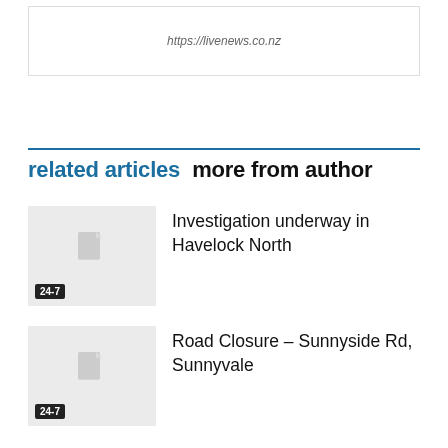https://livenews.co.nz
related articles   more from author
Investigation underway in Havelock North
Road Closure – Sunnyside Rd, Sunnyvale
Spackman Media Group Artist Wi Ha-jun's Drama, LITTLE WOMEN, Premieres #1 In Viewership Ratings